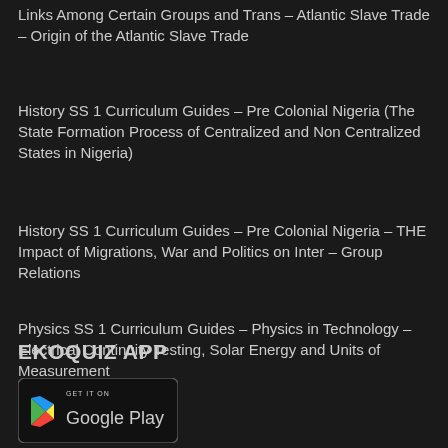Links Among Certain Groups and Trans – Atlantic Slave Trade – Origin of the Atlantic Slave Trade
History SS 1 Curriculum Guides – Pre Colonial Nigeria (The State Formation Process of Centralized and Non Centralized States in Nigeria)
History SS 1 Curriculum Guides – Pre Colonial Nigeria – THE Impact of Migrations, War and Politics on Inter – Group Relations
Physics SS 1 Curriculum Guides – Physics in Technology – Electrical Continuity Testing, Solar Energy and Units of Measurement
EKOQUIZ APP
[Figure (logo): Google Play Store badge with GET IT ON Google Play text and triangular play icon]